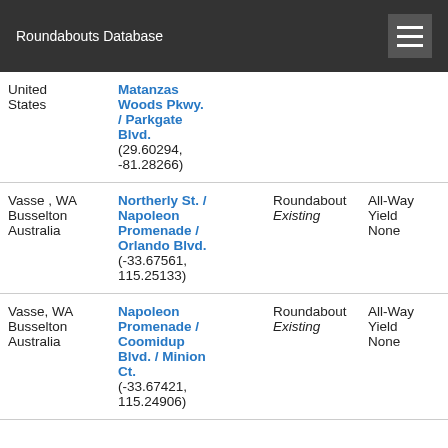Roundabouts Database
| Location | Intersection | Type | Control | ... |
| --- | --- | --- | --- | --- |
| United States | Matanzas Woods Pkwy. / Parkgate Blvd.
(29.60294, -81.28266) |  |  |  |
| Vasse , WA
Busselton
Australia | Northerly St. / Napoleon Promenade / Orlando Blvd.
(-33.67561, 115.25133) | Roundabout
Existing | All-Way Yield
None | 4 Ap
0 Dr |
| Vasse, WA
Busselton
Australia | Napoleon Promenade / Coomidup Blvd. / Minion Ct.
(-33.67421, 115.24906) | Roundabout
Existing | All-Way Yield
None | 4 Ap
0 Dr |